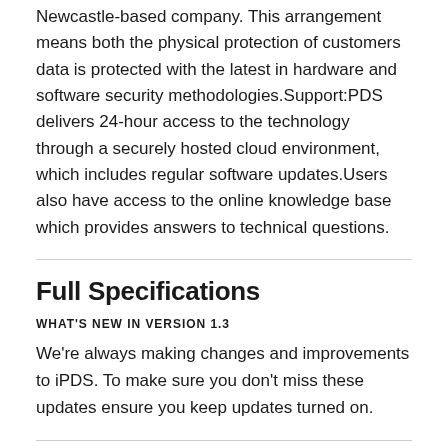Newcastle-based company. This arrangement means both the physical protection of customers data is protected with the latest in hardware and software security methodologies.Support:PDS delivers 24-hour access to the technology through a securely hosted cloud environment, which includes regular software updates.Users also have access to the online knowledge base which provides answers to technical questions.
Full Specifications
WHAT'S NEW IN VERSION 1.3
We're always making changes and improvements to iPDS. To make sure you don't miss these updates ensure you keep updates turned on.
GENERAL